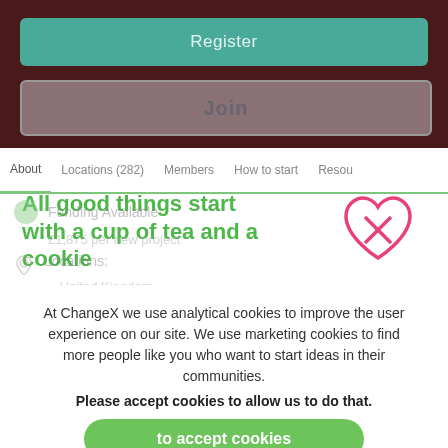[Figure (screenshot): Register button (teal/green)]
[Figure (screenshot): Join button with grey border]
About | Locations (282) | Members | How to start | Resou...
All good things start with a cup of tea and a cookie
Funding Available
£1,875 per new project
Locations:
United Kingdom
To access funding:
Complete a 30 Day Challenge
Report the impact of your project
At ChangeX we use analytical cookies to improve the user experience on our site. We use marketing cookies to find more people like you who want to start ideas in their communities.
Please accept cookies to allow us to do that.
to accept cookies
Please don't use cookies